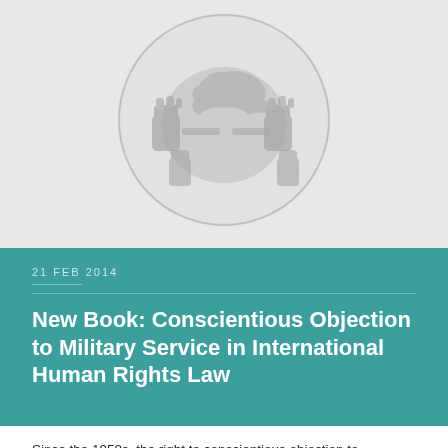[Figure (illustration): Light grey background with a circular emblem containing stylized fists holding a globe/map, rendered in grey tones as a watermark-style logo]
21 FEB 2014
New Book: Conscientious Objection to Military Service in International Human Rights Law
Since the 1950s, the right to conscientious objection to